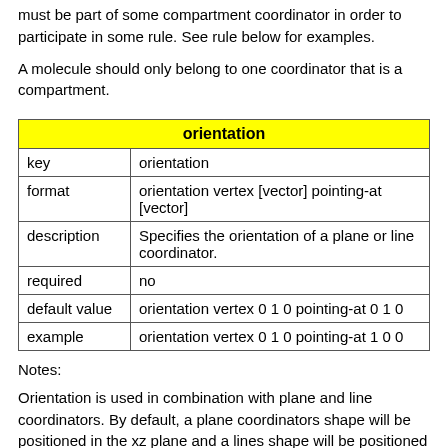must be part of some compartment coordinator in order to participate in some rule. See rule below for examples.
A molecule should only belong to one coordinator that is a compartment.
| orientation |
| --- |
| key | orientation |
| format | orientation vertex [vector] pointing-at [vector] |
| description | Specifies the orientation of a plane or line coordinator. |
| required | no |
| default value | orientation vertex 0 1 0 pointing-at 0 1 0 |
| example | orientation vertex 0 1 0 pointing-at 1 0 0 |
Notes:
Orientation is used in combination with plane and line coordinators. By default, a plane coordinators shape will be positioned in the xz plane and a lines shape will be positioned in the x axis. This can be altered by pointing the